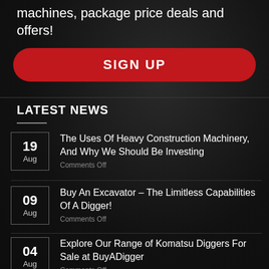machines, package price deals and offers!
SIGN UP
LATEST NEWS
19 Aug — The Uses Of Heavy Construction Machinery, And Why We Should Be Investing — Comments Off
09 Aug — Buy An Excavator – The Limitless Capabilities Of A Digger! — Comments Off
04 Aug — Explore Our Range of Komatsu Diggers For Sale at BuyADigger — Comments Off